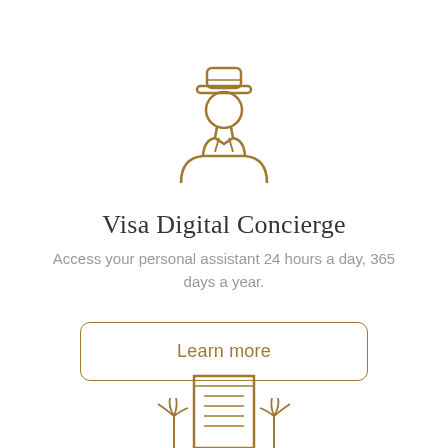[Figure (illustration): Gold line-art icon of a concierge/bellhop person wearing a cap, shown from the shoulders up]
Visa Digital Concierge
Access your personal assistant 24 hours a day, 365 days a year.
Learn more
[Figure (illustration): Gold line-art icon of a hotel building with palm trees on either side, partially visible at the bottom of the page]